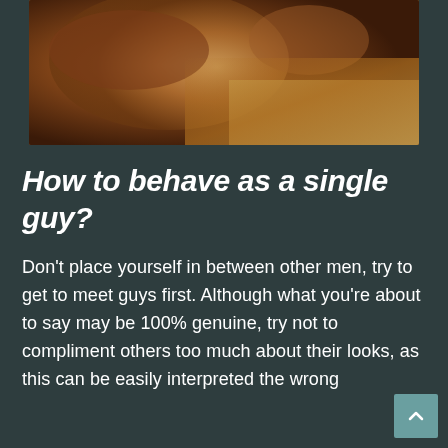[Figure (photo): Close-up photo of two people lying down, warm brown skin tones, beach/sandy background]
How to behave as a single guy?
Don't place yourself in between other men, try to get to meet guys first.  Although what you're about to say may be 100% genuine, try not to compliment others too much about their looks, as this can be easily interpreted the wrong